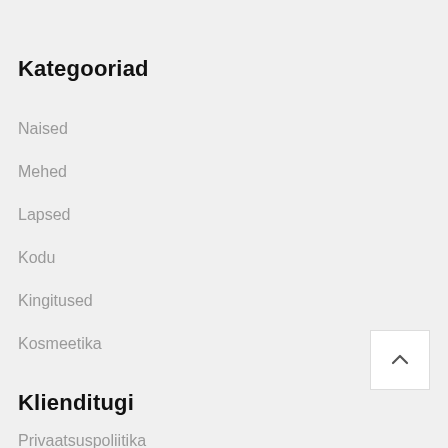Kategooriad
Naised
Mehed
Lapsed
Kodu
Kingitused
Kosmeetika
Klienditugi
Privaatsuspoliitika